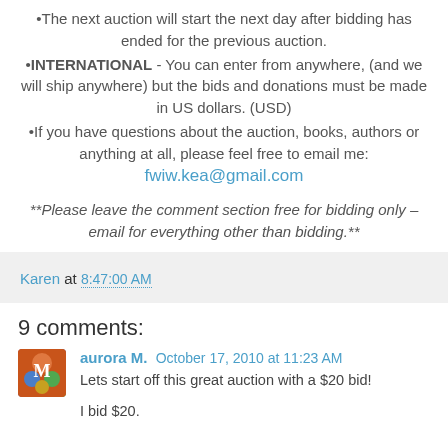•The next auction will start the next day after bidding has ended for the previous auction.
•INTERNATIONAL - You can enter from anywhere, (and we will ship anywhere) but the bids and donations must be made in US dollars. (USD)
•If you have questions about the auction, books, authors or anything at all, please feel free to email me: fwiw.kea@gmail.com
**Please leave the comment section free for bidding only – email for everything other than bidding.**
Karen at 8:47:00 AM
9 comments:
aurora M. October 17, 2010 at 11:23 AM
Lets start off this great auction with a $20 bid!

I bid $20.